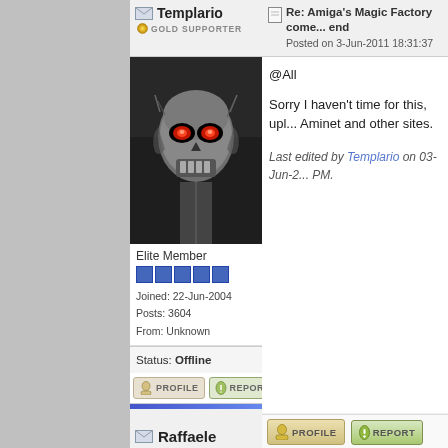Templario | GOLD SUPPORTER
[Figure (photo): Avatar image of a Terminator robot with red glowing eyes, metallic skull face]
Elite Member
Joined: 22-Jun-2004
Posts: 3604
From: Unknown
Status: Offline
@All
Sorry I haven't time for this, upl... Aminet and other sites.

Last edited by Templario on 03-Jun-2... PM.
Raffaele
Re: Amiga's Magic Factory comes... end
Posted on 4-Jun-2011 3:28:49
Super Member
Joined: 7-Dec-2005
Posts: 1906
From: Naples, Italy
A site we will not miss.

Full of lame naked ladies icons... nonsense fairies...

Sorry... I know that you made lo... spent in it, but those icons were...

Sincerely you could had done b... had had acquired more respect... Amiga community, but sure you...